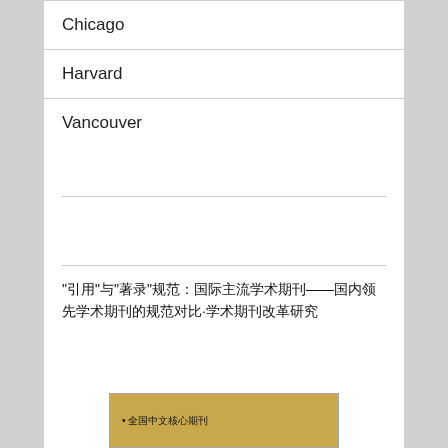Chicago
Harvard
Vancouver
“引用”与“著录”规范：国际主流学术期刊——国内领先学术期刊的规范对比·学术期刊改革研究
[Figure (other): Book or journal cover with bullet point: 全国中文核心期刊]